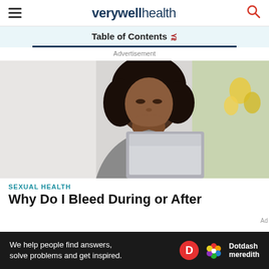verywellhealth
Table of Contents
Advertisement
[Figure (photo): A Black woman with curly hair wearing a gray blazer, looking down at a laptop or tablet, with her hand to her chin in a thoughtful pose. Yellow flowers visible in the background.]
SEXUAL HEALTH
Why Do I Bleed During or After
We help people find answers, solve problems and get inspired. Dotdash meredith